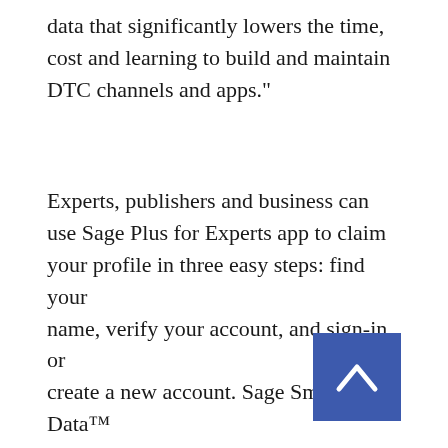data that significantly lowers the time, cost and learning to build and maintain DTC channels and apps."
Experts, publishers and business can use Sage Plus for Experts app to claim your profile in three easy steps: find your name, verify your account, and sign-in, or create a new account. Sage Smart Data™ technology uses AI and machine learning to help creators use their current content or build new content from within the Sage app to create and publish their official account in minutes. Sage Plus for Experts offers a visual builder to create reviews, posts, link or upload your content. In addition, experts can curate lists, work with teams, add experiences, books, products and merch to sell online